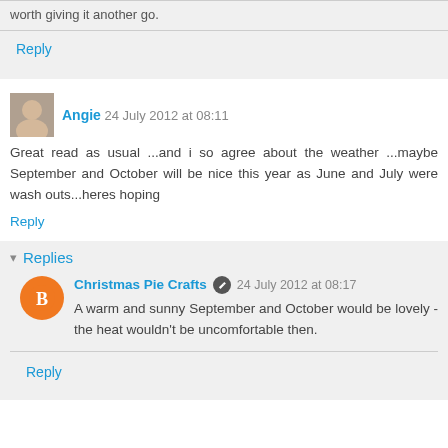worth giving it another go.
Reply
Angie  24 July 2012 at 08:11
Great read as usual ...and i so agree about the weather ...maybe September and October will be nice this year as June and July were wash outs...heres hoping
Reply
Replies
Christmas Pie Crafts  24 July 2012 at 08:17
A warm and sunny September and October would be lovely - the heat wouldn't be uncomfortable then.
Reply